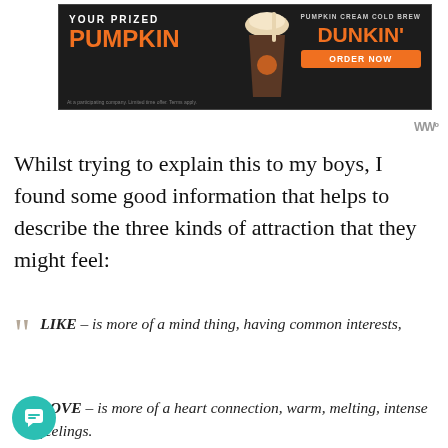[Figure (other): Dunkin' Donuts advertisement banner: 'YOUR PRIZED PUMPKIN' text with a Pumpkin Cream Cold Brew drink image and 'DUNKIN' ORDER NOW' button on dark background]
Whilst trying to explain this to my boys, I found some good information that helps to describe the three kinds of attraction that they might feel:
LIKE – is more of a mind thing, having common interests,
LOVE – is more of a heart connection, warm, melting, intense feelings.